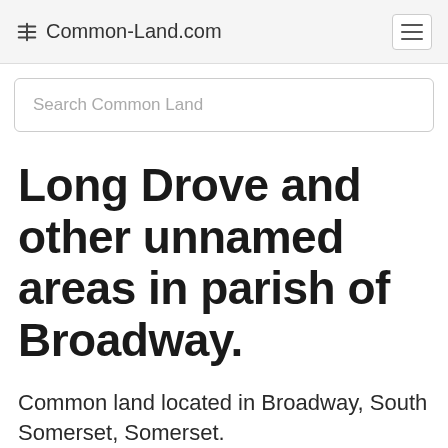Common-Land.com
Search Common Land
Long Drove and other unnamed areas in parish of Broadway.
Common land located in Broadway, South Somerset, Somerset.